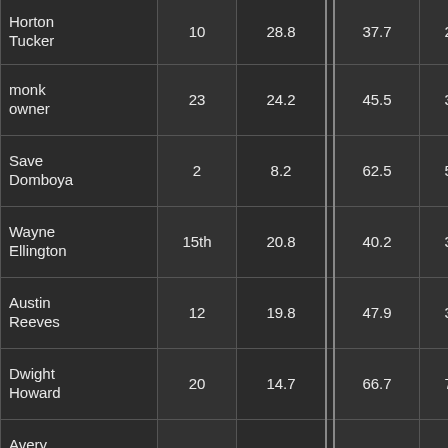| Player |  |  |  |  |  |  |
| --- | --- | --- | --- | --- | --- | --- |
| Horton Tucker | 10 | 28.8 |  | 37.7 | 28.6 | 95.0 |
| monk owner | 23 | 24.2 |  | 45.5 | 35.8 | 82.6 |
| Save Domboya | 2 | 8.2 |  | 62.5 | 50.0 | 75.0 |
| Wayne Ellington | 15th | 20.8 |  | 40.2 | 39.5 | 100.0 |
| Austin Reeves | 12 | 19.8 |  | 47.9 | 32.1 | 90.0 |
| Dwight Howard | 20 | 14.7 |  | 66.7 | 71.4 | 61.9 |
| Avery Bradley | 21 | 22.3 |  | 38.1 | 34.9 | 100.0 |